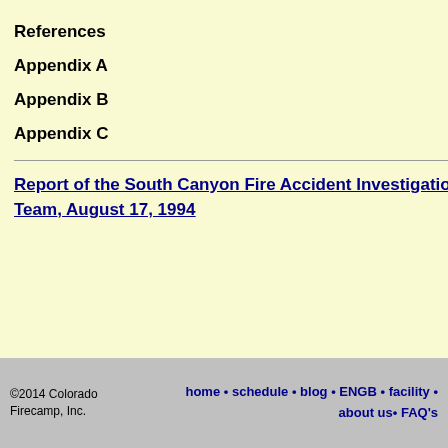References
Appendix A
Appendix B
Appendix C
Report of the South Canyon Fire Accident Investigation Team, August 17, 1994
Sco
Levi
Robert
Doug
Terr
Bonni
Rob
Jon
Don
Rog
Jame
Richa
<<< continue reading—Fire Beh
©2014 Colorado Firecamp, Inc.   home • schedule • blog • ENGB • facility • about us • FAQ's